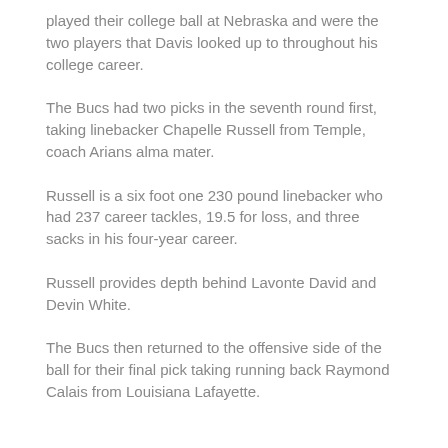played their college ball at Nebraska and were the two players that Davis looked up to throughout his college career.
The Bucs had two picks in the seventh round first, taking linebacker Chapelle Russell from Temple, coach Arians alma mater.
Russell is a six foot one 230 pound linebacker who had 237 career tackles, 19.5 for loss, and three sacks in his four-year career.
Russell provides depth behind Lavonte David and Devin White.
The Bucs then returned to the offensive side of the ball for their final pick taking running back Raymond Calais from Louisiana Lafayette.